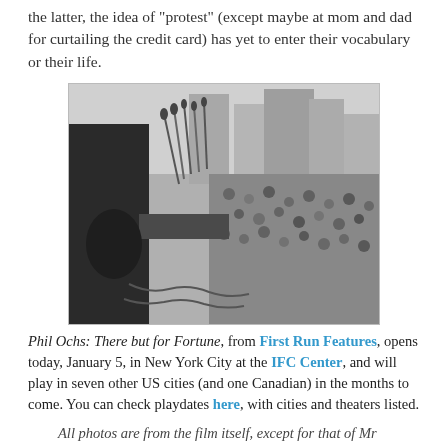the latter, the idea of "protest" (except maybe at mom and dad for curtailing the credit card) has yet to enter their vocabulary or their life.
[Figure (photo): Black and white photograph of Phil Ochs performing at an outdoor rally, seen from behind, playing guitar while facing a bank of microphones, with a large crowd and city buildings in the background.]
Phil Ochs: There but for Fortune, from First Run Features, opens today, January 5, in New York City at the IFC Center, and will play in seven other US cities (and one Canadian) in the months to come. You can check playdates here, with cities and theaters listed.
All photos are from the film itself, except for that of Mr